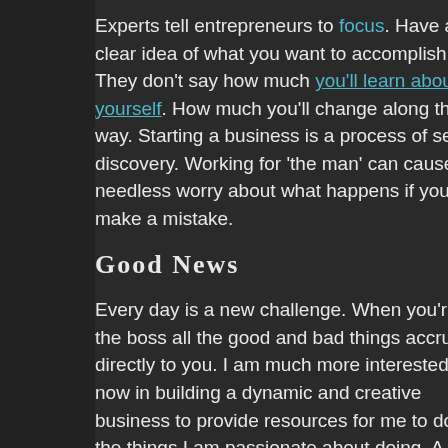Experts tell entrepreneurs to focus. Have a clear idea of what you want to accomplish. They don't say how much you'll learn about yourself. How much you'll change along the way. Starting a business is a process of self discovery. Working for 'the man' can cause needless worry about what happens if you make a mistake.
Good News
Every day is a new challenge. When you're the boss all the good and bad things accrue directly to you. I am much more interested now in building a dynamic and creative business to provide resources for me to do the things I am passionate about doing. A business that serves clients and the audience. My business allows me to